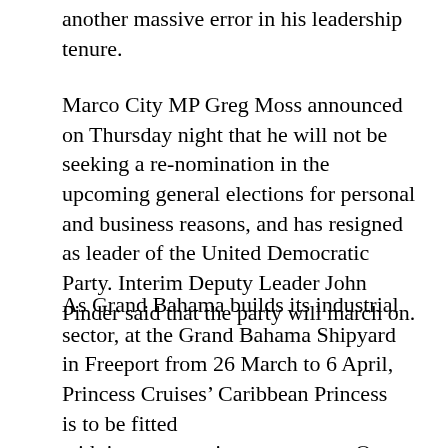another massive error in his leadership tenure.
Marco City MP Greg Moss announced on Thursday night that he will not be seeking a re-nomination in the upcoming general elections for personal and business reasons, and has resigned as leader of the United Democratic Party. Interim Deputy Leader John Pinder said that the party will march on.
As Grand Bahama builds its industrial sector, at the Grand Bahama Shipyard in Freeport from 26 March to 6 April, Princess Cruises’ Caribbean Princess
is to be fitted
with interconnecting staterooms, Ocean Medallion technology and newly renovated